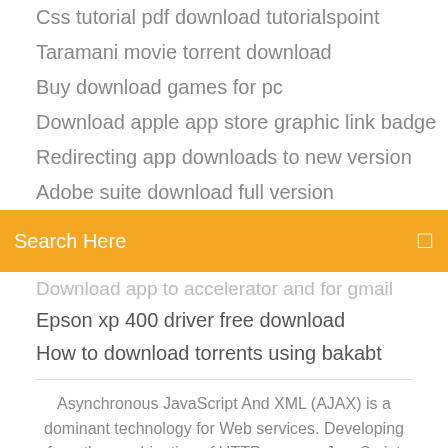Css tutorial pdf download tutorialspoint
Taramani movie torrent download
Buy download games for pc
Download apple app store graphic link badge
Redirecting app downloads to new version
Adobe suite download full version
[Figure (screenshot): Orange search bar with placeholder text 'Search Here' and a small icon on the right]
Download app to accelerator and for gmail
Epson xp 400 driver free download
How to download torrents using bakabt
Asynchronous JavaScript And XML (AJAX) is a dominant technology for Web services. Developing from the combination of HTTP servers, JavaScript clients and Plain Old XML (as distinct from SOAP and W3C Web Services), now it is frequently used...